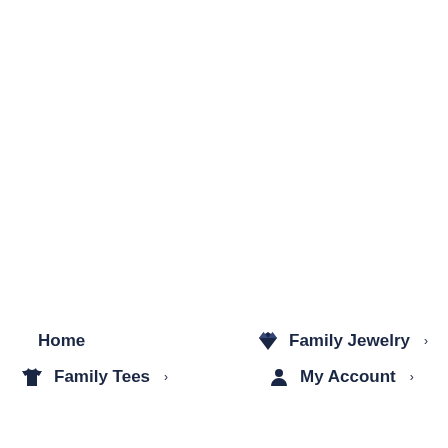Home
Family Jewelry
Family Tees
My Account